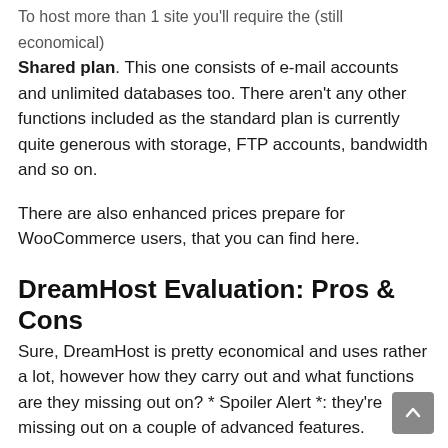Shared plan. This one consists of e-mail accounts and unlimited databases too. There aren't any other functions included as the standard plan is currently quite generous with storage, FTP accounts, bandwidth and so on.
There are also enhanced prices prepare for WooCommerce users, that you can find here.
DreamHost Evaluation: Pros & Cons
Sure, DreamHost is pretty economical and uses rather a lot, however how they carry out and what functions are they missing out on? * Spoiler Alert *: they're missing out on a couple of advanced features.
Let me assist you out: